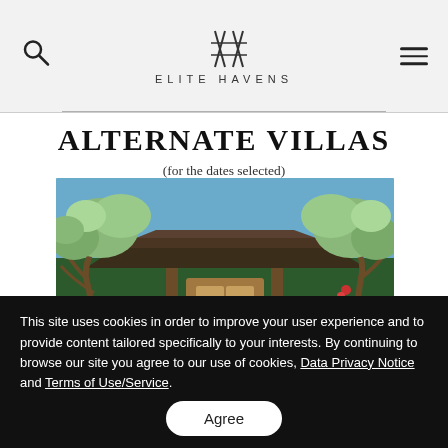ELITE HAVENS
ALTERNATE VILLAS
(for the dates selected)
[Figure (photo): Tropical villa entrance with lush frangipani trees, thatched roof pavilion, and tropical garden foliage against a blue sky]
This site uses cookies in order to improve your user experience and to provide content tailored specifically to your interests. By continuing to browse our site you agree to our use of cookies, Data Privacy Notice and Terms of Use/Service.